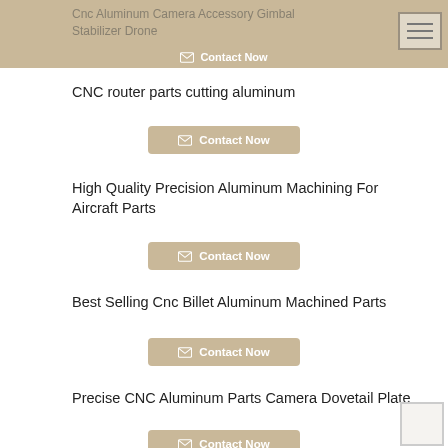Cnc Aluminum Camera Accessory Gimbal Stabilizer Drone
CNC router parts cutting aluminum
Contact Now
High Quality Precision Aluminum Machining For Aircraft Parts
Contact Now
Best Selling Cnc Billet Aluminum Machined Parts
Contact Now
Precise CNC Aluminum Parts Camera Dovetail Plate
Contact Now